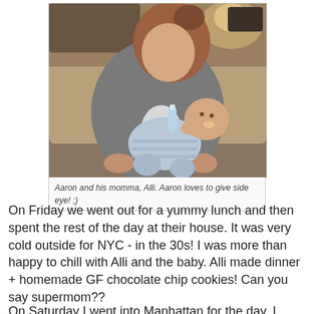[Figure (photo): A woman (Alli) sitting on a couch holding a baby (Aaron) and feeding him with a bottle. The baby is wearing a blue striped outfit.]
Aaron and his momma, Alli. Aaron loves to give side eye!  ;)
On Friday we went out for a yummy lunch and then spent the rest of the day at their house. It was very cold outside for NYC - in the 30s! I was more than happy to chill with Alli and the baby. Alli made dinner + homemade GF chocolate chip cookies! Can you say supermom??
On Saturday I went into Manhattan for the day. I started off